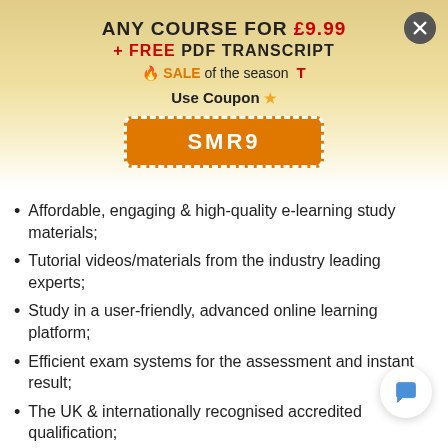ANY COURSE FOR £9.99 + FREE PDF TRANSCRIPT
🔥 SALE of the season  T
Use Coupon ★
SMR9
Affordable, engaging & high-quality e-learning study materials;
Tutorial videos/materials from the industry leading experts;
Study in a user-friendly, advanced online learning platform;
Efficient exam systems for the assessment and instant result;
The UK & internationally recognised accredited qualification;
Access to course content on mobile, tablet & desktop from anywhere anytime;
The benefit of career advancement opportunities;
24/7 student support via email;